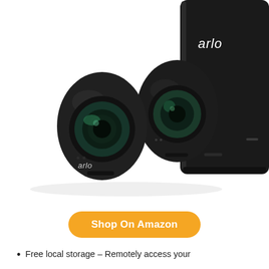[Figure (photo): Two Arlo black security cameras side by side with an Arlo SmartHub/base station in the background (upper right). The cameras are oval-shaped with a large lens in the center and 'arlo' branding. White background.]
Shop On Amazon
Free local storage – Remotely access your